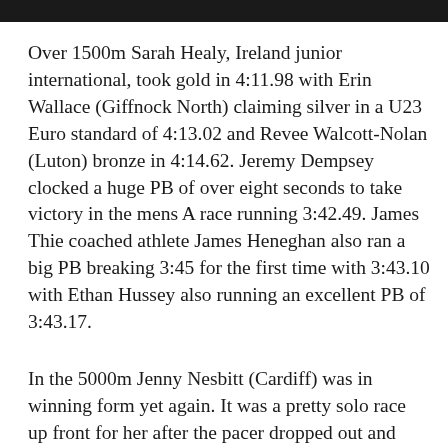Over 1500m Sarah Healy, Ireland junior international, took gold in 4:11.98 with Erin Wallace (Giffnock North) claiming silver in a U23 Euro standard of 4:13.02 and Revee Walcott-Nolan (Luton) bronze in 4:14.62. Jeremy Dempsey clocked a huge PB of over eight seconds to take victory in the mens A race running 3:42.49. James Thie coached athlete James Heneghan also ran a big PB breaking 3:45 for the first time with 3:43.10 with Ethan Hussey also running an excellent PB of 3:43.17.
In the 5000m Jenny Nesbitt (Cardiff) was in winning form yet again. It was a pretty solo race up front for her after the pacer dropped out and Kate Avery made the call not to complete the race. Nesbitt says she is still “searching for that race that clicks”.